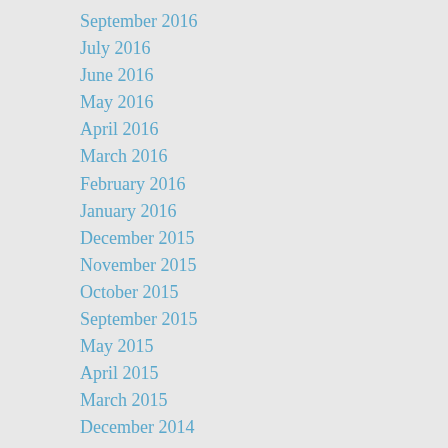September 2016
July 2016
June 2016
May 2016
April 2016
March 2016
February 2016
January 2016
December 2015
November 2015
October 2015
September 2015
May 2015
April 2015
March 2015
December 2014
November 2014
October 2014
September 2014
June 2014